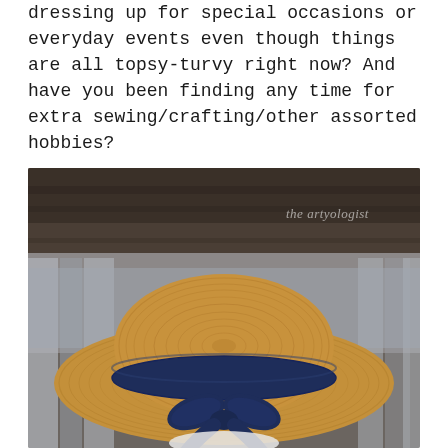dressing up for special occasions or everyday events even though things are all topsy-turvy right now? And have you been finding any time for extra sewing/crafting/other assorted hobbies?
[Figure (photo): Photo of a straw boater hat with a navy blue ribbon and bow, seen from above/behind. Watermark reads 'the artyologist'. Blurred wooden background with fence posts visible.]